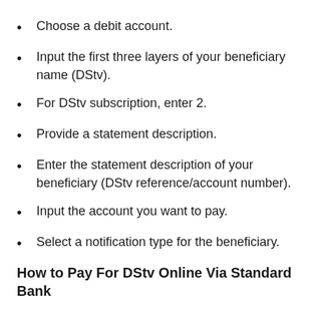Choose a debit account.
Input the first three layers of your beneficiary name (DStv).
For DStv subscription, enter 2.
Provide a statement description.
Enter the statement description of your beneficiary (DStv reference/account number).
Input the account you want to pay.
Select a notification type for the beneficiary.
How to Pay For DStv Online Via Standard Bank
Dial *120*2345#.
To be given 1.